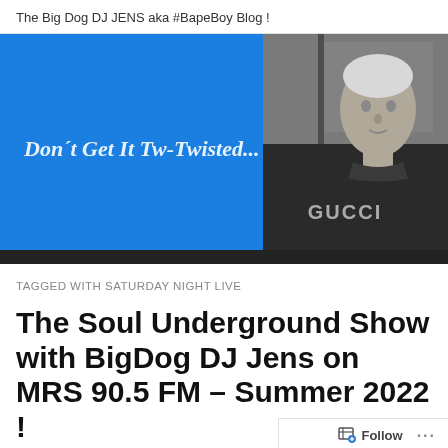The Big Dog DJ JENS aka #BapeBoy Blog !
[Figure (photo): Blog banner image split into two halves: left side is a bright blue rectangle with italic bold white text 'Don´t Get It Tw-Twisted...'; right side is a black-and-white photo of a man wearing a Gucci shirt.]
TAGGED WITH SATURDAY NIGHT LIVE
The Soul Underground Show with BigDog DJ Jens on MRS 90.5 FM – Summer 2022 !